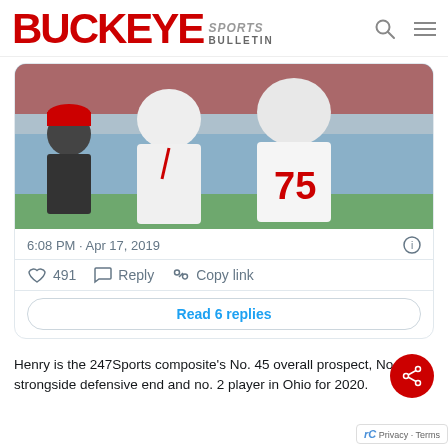[Figure (logo): Buckeye Sports Bulletin logo in red and gray]
[Figure (photo): Two men posing at a football stadium, one wearing a white Ohio State jersey with number 75]
6:08 PM · Apr 17, 2019
491   Reply   Copy link
Read 6 replies
Henry is the 247Sports composite's No. 45 overall prospect, No. 3 strongside defensive end and no. 2 player in Ohio for 2020.